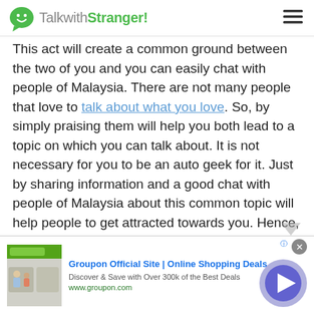TalkwithStranger!
This act will create a common ground between the two of you and you can easily chat with people of Malaysia. There are not many people that love to talk about what you love. So, by simply praising them will help you both lead to a topic on which you can talk about. It is not necessary for you to be an auto geek for it. Just by sharing information and a good chat with people of Malaysia about this common topic will help people to get attracted towards you. Hence, increase your attraction towards the people of Malaysia or make it easier for you to chat with people of Malaysia or elsewhere in
[Figure (screenshot): Groupon advertisement banner with logo, title 'Groupon Official Site | Online Shopping Deals', subtitle 'Discover & Save with Over 300k of the Best Deals', URL www.groupon.com, close button, and play button circle]